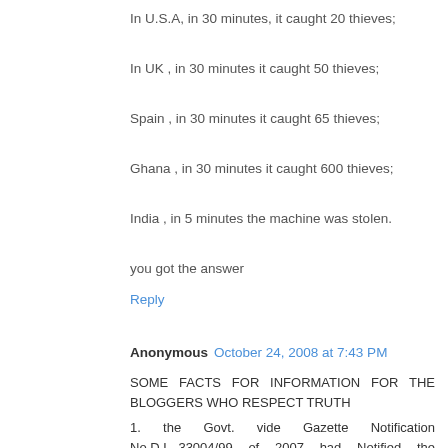In U.S.A, in 30 minutes, it caught 20 thieves;
In UK , in 30 minutes it caught 50 thieves;
Spain , in 30 minutes it caught 65 thieves;
Ghana , in 30 minutes it caught 600 thieves;
India , in 5 minutes the machine was stolen.
you got the answer
Reply
Anonymous October 24, 2008 at 7:43 PM
SOME FACTS FOR INFORMATION FOR THE BLOGGERS WHO RESPECT TRUTH
1. the Govt. vide Gazette Notification No.D.L.-33004/99 of 2007 had Notified the equivalence between army and civilian officers in case of Boarder Roads Organisation